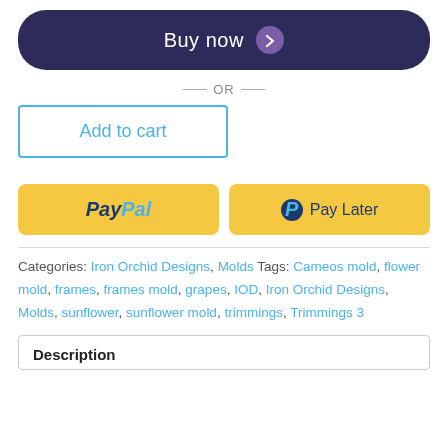[Figure (other): Buy now button with dark navy background and chevron arrow icon]
— OR —
[Figure (other): Add to cart button with blue border]
[Figure (other): PayPal and Pay Later buttons with yellow background]
Categories: Iron Orchid Designs, Molds Tags: Cameos mold, flower mold, frames, frames mold, grapes, IOD, Iron Orchid Designs, Molds, sunflower, sunflower mold, trimmings, Trimmings 3
Description